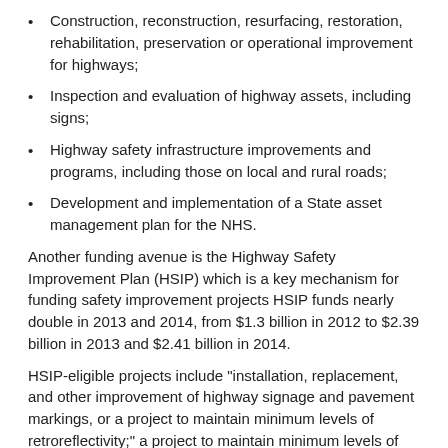Construction, reconstruction, resurfacing, restoration, rehabilitation, preservation or operational improvement for highways;
Inspection and evaluation of highway assets, including signs;
Highway safety infrastructure improvements and programs, including those on local and rural roads;
Development and implementation of a State asset management plan for the NHS.
Another funding avenue is the Highway Safety Improvement Plan (HSIP) which is a key mechanism for funding safety improvement projects HSIP funds nearly double in 2013 and 2014, from $1.3 billion in 2012 to $2.39 billion in 2013 and $2.41 billion in 2014.
HSIP-eligible projects include "installation, replacement, and other improvement of highway signage and pavement markings, or a project to maintain minimum levels of retroreflectivity;" a project to maintain minimum levels of retroreflectivity "without regard to whether the